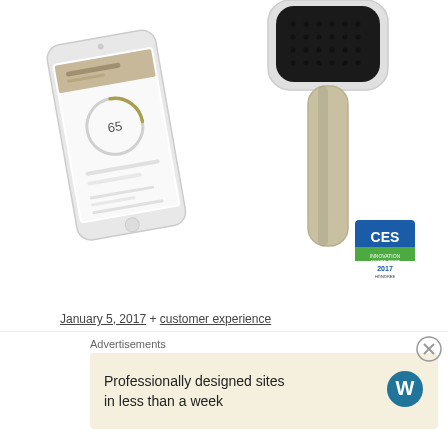[Figure (photo): Product photo showing a white smartphone with a hair analytics app displayed on screen (left) and a sleek silver/black hairbrush (right), with a CES 2017 Innovation Award Best badge in the bottom right corner, on white background.]
January 5, 2017 + customer experience
L'Oréal teamed up with Withings to create the first
Advertisements
Professionally designed sites in less than a week